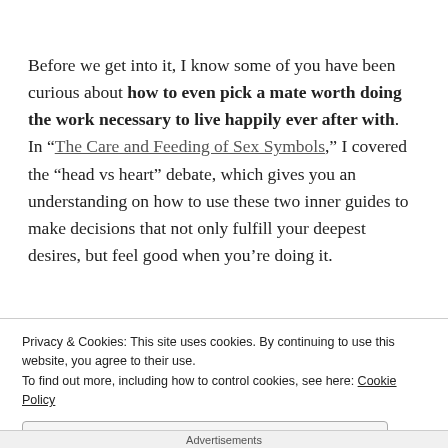Before we get into it, I know some of you have been curious about how to even pick a mate worth doing the work necessary to live happily ever after with. In “The Care and Feeding of Sex Symbols,” I covered the “head vs heart” debate, which gives you an understanding on how to use these two inner guides to make decisions that not only fulfill your deepest desires, but feel good when you’re doing it.
Privacy & Cookies: This site uses cookies. By continuing to use this website, you agree to their use.
To find out more, including how to control cookies, see here: Cookie Policy
Close and accept
Advertisements